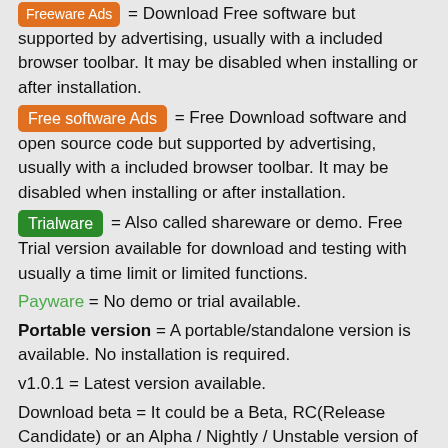[Freeware Ads] = Download Free software but supported by advertising, usually with a included browser toolbar. It may be disabled when installing or after installation.
[Free software Ads] = Free Download software and open source code but supported by advertising, usually with a included browser toolbar. It may be disabled when installing or after installation.
[Trialware] = Also called shareware or demo. Free Trial version available for download and testing with usually a time limit or limited functions.
Payware = No demo or trial available.
Portable version = A portable/standalone version is available. No installation is required.
v1.0.1 = Latest version available.
Download beta = It could be a Beta, RC(Release Candidate) or an Alpha / Nightly / Unstable version of the software.
Download 15MB = A direct link to the software download.